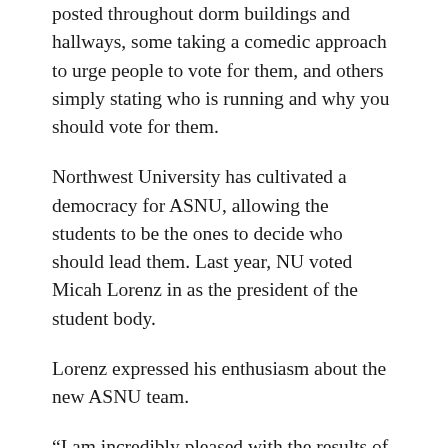posted throughout dorm buildings and hallways, some taking a comedic approach to urge people to vote for them, and others simply stating who is running and why you should vote for them.
Northwest University has cultivated a democracy for ASNU, allowing the students to be the ones to decide who should lead them. Last year, NU voted Micah Lorenz in as the president of the student body.
Lorenz expressed his enthusiasm about the new ASNU team.
“I am incredibly pleased with the results of the elections. I enjoy seeing people step out, try new things, and dive into something they are